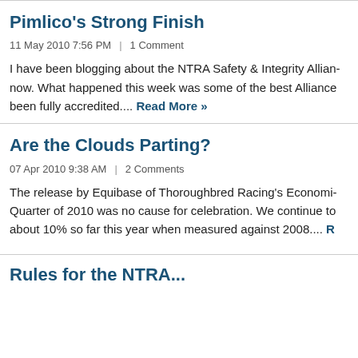Pimlico's Strong Finish
11 May 2010 7:56 PM  |  1 Comment
I have been blogging about the NTRA Safety & Integrity Alliance now. What happened this week was some of the best Alliance been fully accredited.... Read More »
Are the Clouds Parting?
07 Apr 2010 9:38 AM  |  2 Comments
The release by Equibase of Thoroughbred Racing's Economic Quarter of 2010 was no cause for celebration. We continue to about 10% so far this year when measured against 2008.... R
Rules for the NTRA...